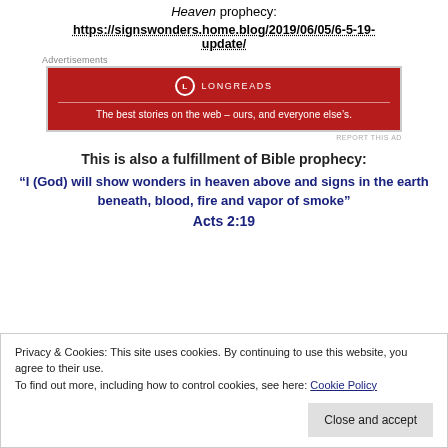Heaven prophecy:
https://signswonders.home.blog/2019/06/05/6-5-19-update/
[Figure (other): Longreads advertisement banner: red background with white logo circle, LONGREADS text, and tagline 'The best stories on the web — ours, and everyone else's.']
This is also a fulfillment of Bible prophecy:
“I (God) will show wonders in heaven above and signs in the earth beneath, blood, fire and vapor of smoke” Acts 2:19
Privacy & Cookies: This site uses cookies. By continuing to use this website, you agree to their use. To find out more, including how to control cookies, see here: Cookie Policy